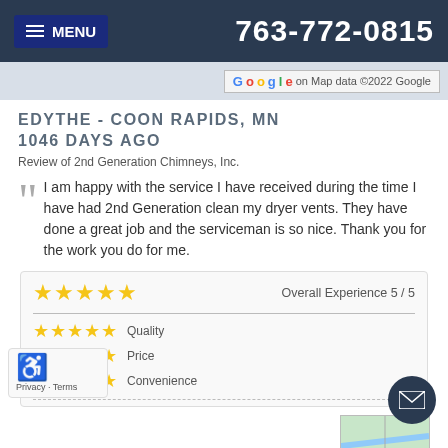MENU | 763-772-0815
[Figure (map): Google map strip with Google logo and 'Map data ©2022 Google' text]
EDYTHE - COON RAPIDS, MN
1046 DAYS AGO
Review of 2nd Generation Chimneys, Inc.
I am happy with the service I have received during the time I have had 2nd Generation clean my dryer vents. They have done a great job and the serviceman is so nice. Thank you for the work you do for me.
| Stars | Category | Score |
| --- | --- | --- |
| ★★★★★ | Overall Experience | 5 / 5 |
| ★★★★★ | Quality |  |
| ★★★★★ | Price |  |
| ★★★★★ | Convenience |  |
a pleasure
[Figure (map): Small map thumbnail in bottom right corner]